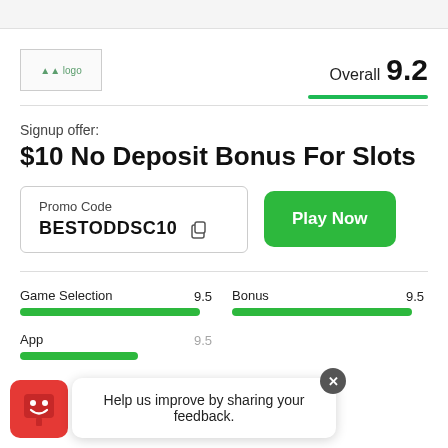[Figure (logo): Casino/betting site logo placeholder]
Overall 9.2
Signup offer:
$10 No Deposit Bonus For Slots
Promo Code BESTODDSC10
Play Now
Game Selection 9.5
Bonus 9.5
App 9.5
Help us improve by sharing your feedback.